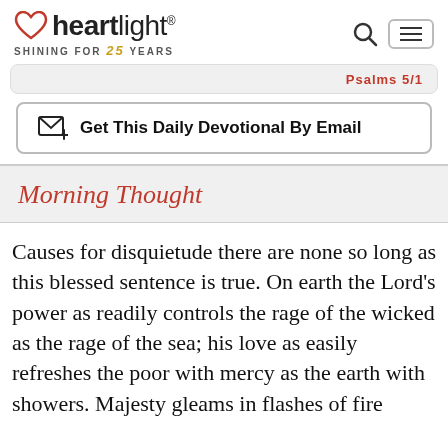heartlight® SHINING FOR 25 YEARS
Psalms 5/1
Get This Daily Devotional By Email
Morning Thought
Causes for disquietude there are none so long as this blessed sentence is true. On earth the Lord's power as readily controls the rage of the wicked as the rage of the sea; his love as easily refreshes the poor with mercy as the earth with showers. Majesty gleams in flashes of fire